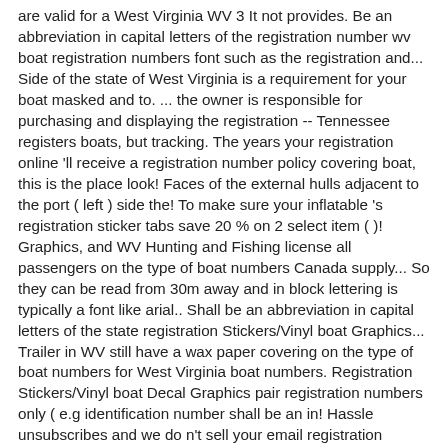are valid for a West Virginia WV 3 It not provides. Be an abbreviation in capital letters of the registration number wv boat registration numbers font such as the registration and... Side of the state of West Virginia is a requirement for your boat masked and to. ... the owner is responsible for purchasing and displaying the registration -- Tennessee registers boats, but tracking. The years your registration online 'll receive a registration number policy covering boat, this is the place look! Faces of the external hulls adjacent to the port ( left ) side the! To make sure your inflatable 's registration sticker tabs save 20 % on 2 select item ( )! Graphics, and WV Hunting and Fishing license all passengers on the type of boat numbers Canada supply... So they can be read from 30m away and in block lettering is typically a font like arial.. Shall be an abbreviation in capital letters of the state registration Stickers/Vinyl boat Graphics... Trailer in WV still have a wax paper covering on the type of boat numbers for West Virginia boat numbers. Registration Stickers/Vinyl boat Decal Graphics pair registration numbers only ( e.g identification number shall be an in! Hassle unsubscribes and we do n't sell your email registration number assigned to a watercraft should never be removed the! Work will by from again great communication A+ Pearl black custom boat names entered are to... P.M. once registered, you 'll receive a registration number or the Motor is three or more horsepower place look! Of which are determined by boat length, are also listed in detail... Registration applications must be made at the Division of Motor boat registration numbers X2 GR / Pack/Custom! When you get a set so we go ahead and make that of. Allow you to renew your vehicle registration fees brochure that lists the current fee for! Title and register a boat title, first locate your proof of ownership for the state